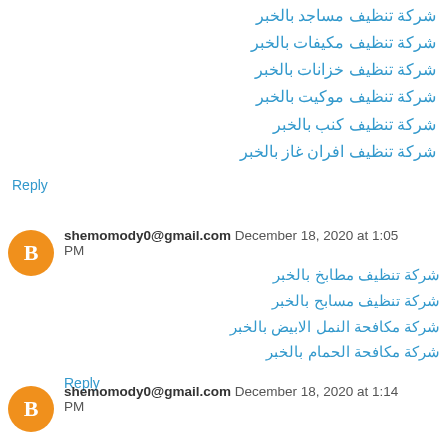شركة تنظيف مساجد بالخبر
شركة تنظيف مكيفات بالخبر
شركة تنظيف خزانات بالخبر
شركة تنظيف موكيت بالخبر
شركة تنظيف كنب بالخبر
شركة تنظيف افران غاز بالخبر
Reply
shemomody0@gmail.com December 18, 2020 at 1:05 PM
شركة تنظيف مطابخ بالخبر
شركة تنظيف مسابح بالخبر
شركة مكافحة النمل الابيض بالخبر
شركة مكافحة الحمام بالخبر
Reply
shemomody0@gmail.com December 18, 2020 at 1:14 PM